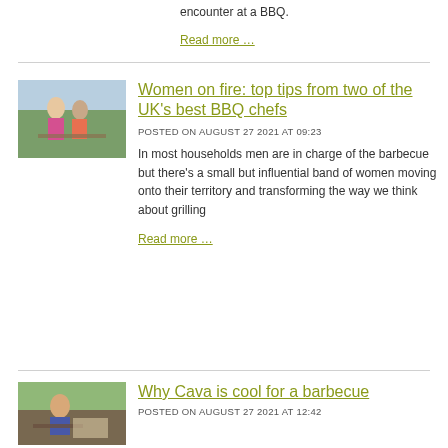encounter at a BBQ.
Read more …
[Figure (photo): Two women at an outdoor barbecue/picnic setting]
Women on fire: top tips from two of the UK's best BBQ chefs
POSTED ON AUGUST 27 2021 AT 09:23
In most households men are in charge of the barbecue but there's a small but influential band of women moving onto their territory and transforming the way we think about grilling
Read more …
[Figure (photo): Person at outdoor dining/barbecue setting]
Why Cava is cool for a barbecue
POSTED ON AUGUST 27 2021 AT 12:42